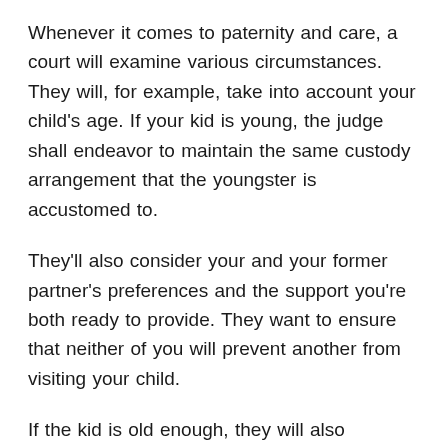Whenever it comes to paternity and care, a court will examine various circumstances. They will, for example, take into account your child's age. If your kid is young, the judge shall endeavor to maintain the same custody arrangement that the youngster is accustomed to.
They'll also consider your and your former partner's preferences and the support you're both ready to provide. They want to ensure that neither of you will prevent another from visiting your child.
If the kid is old enough, they will also consider your child's wishes. Also, whether or not there has been any abuse or neglect. If your ex-partner has a record of neglect or abuse, make sure you save any evidence of this conduct.